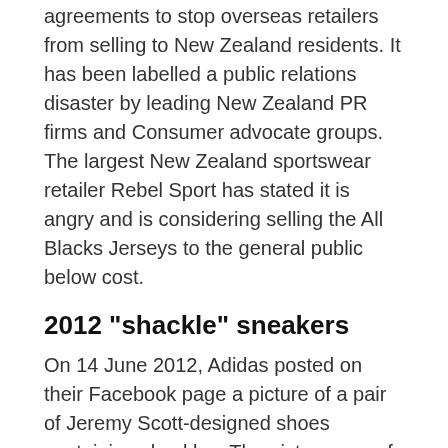agreements to stop overseas retailers from selling to New Zealand residents. It has been labelled a public relations disaster by leading New Zealand PR firms and Consumer advocate groups. The largest New Zealand sportswear retailer Rebel Sport has stated it is angry and is considering selling the All Blacks Jerseys to the general public below cost.
2012 "shackle" sneakers
On 14 June 2012, Adidas posted on their Facebook page a picture of a pair of Jeremy Scott-designed shoes containing shackles. The picture was of a planned shoe line that Adidas intended to release in July. The photo quickly caused controversy including that of Jesse Jackson who was quoted as saying "The attempt